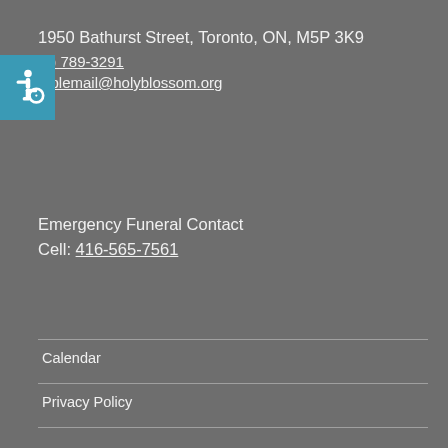1950 Bathurst Street, Toronto, ON, M5P 3K9
(6) 789-3291
mplemail@holyblossom.org
[Figure (illustration): Accessibility wheelchair icon on teal/blue square background]
Emergency Funeral Contact
Cell: 416-565-7561
Calendar
Privacy Policy